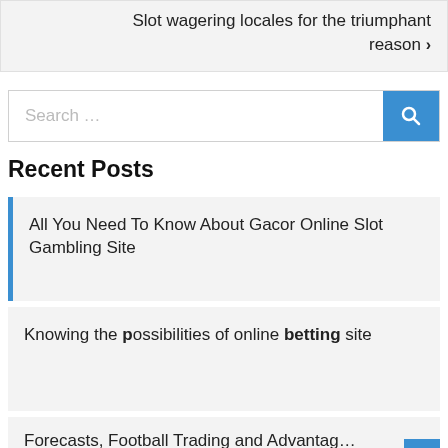Slot wagering locales for the triumphant reason >
Search ...
Recent Posts
All You Need To Know About Gacor Online Slot Gambling Site
Knowing the possibilities of online betting site
Forecasts, Football Trading and Advantag...